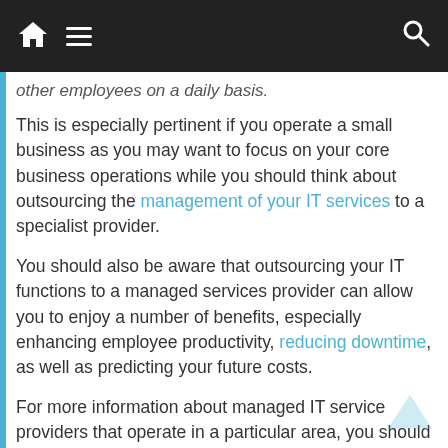Navigation bar with home, menu, and search icons
other employees on a daily basis.
This is especially pertinent if you operate a small business as you may want to focus on your core business operations while you should think about outsourcing the management of your IT services to a specialist provider.
You should also be aware that outsourcing your IT functions to a managed services provider can allow you to enjoy a number of benefits, especially enhancing employee productivity, reducing downtime, as well as predicting your future costs.
For more information about managed IT service providers that operate in a particular area, you should think about consulting an online business directory as you will be able to identify several